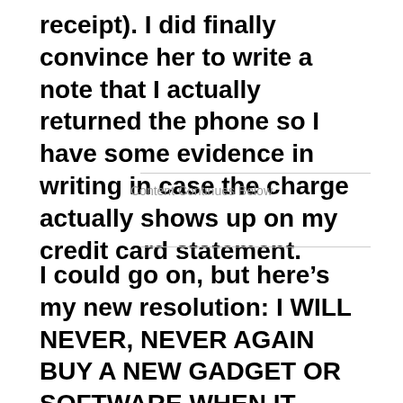receipt). I did finally convince her to write a note that I actually returned the phone so I have some evidence in writing in case the charge actually shows up on my credit card statement.
Content Continues Below
I could go on, but heres my new resolution: I WILL NEVER, NEVER AGAIN BUY A NEW GADGET OR SOFTWARE WHEN IT FIRST COMES OUT!!!! I made the same mistake with Windows Vista so I really should have known better, but, I somehow thought that this would